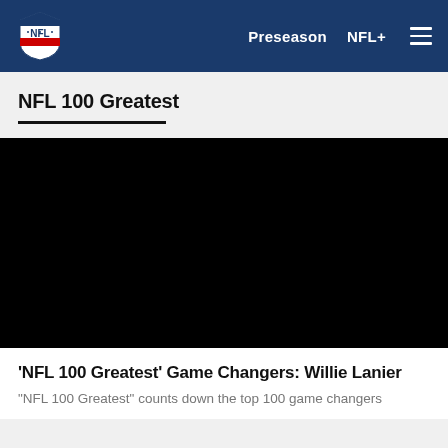NFL | Preseason | NFL+ | Menu
NFL 100 Greatest
[Figure (screenshot): Black video player area for NFL 100 Greatest content]
'NFL 100 Greatest' Game Changers: Willie Lanier
"NFL 100 Greatest" counts down the top 100 game changers